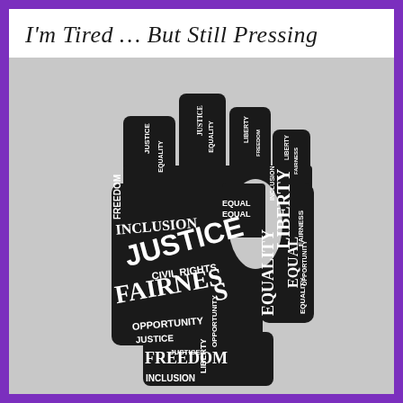I'm Tired … But Still Pressing
[Figure (illustration): A raised fist made up of social justice words including Justice, Equality, Inclusion, Fairness, Liberty, Freedom, Civil Rights, Opportunity, Equal — displayed as a word-cloud silhouette on a gray background.]